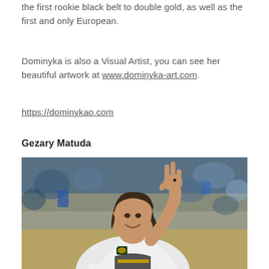the first rookie black belt to double gold, as well as the first and only European.
Dominyka is also a Visual Artist, you can see her beautiful artwork at www.dominyka-art.com.
https://dominykao.com
Gezary Matuda
[Figure (photo): Gezary Matuda smiling and holding up three fingers in a victory gesture, wearing a white BJJ gi with a black belt, in front of a crowd at a jiu-jitsu tournament.]